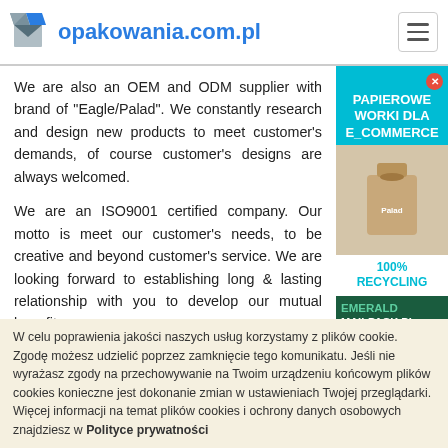opakowania.com.pl
We are also an OEM and ODM supplier with brand of "Eagle/Palad". We constantly research and design new products to meet customer's demands, of course customer's designs are always welcomed.

We are an ISO9001 certified company. Our motto is meet our customer's needs, to be creative and beyond customer's service. We are looking forward to establishing long & lasting relationship with you to develop our mutual benefits

Dane adresowe:
Building 15, Asia Industrial Park, Bantian,North
[Figure (infographic): Advertisement panel for PAPIEROWE WORKI DLA E_COMMERCE with teal/cyan background, image of paper bags, 100% RECYCLING label. Below: EMERALD MAILPACK.PL with SPRAWDŹ red button.]
W celu poprawienia jakości naszych usług korzystamy z plików cookie. Zgodę możesz udzielić poprzez zamknięcie tego komunikatu. Jeśli nie wyrażasz zgody na przechowywanie na Twoim urządzeniu końcowym plików cookies konieczne jest dokonanie zmian w ustawieniach Twojej przeglądarki. Więcej informacji na temat plików cookies i ochrony danych osobowych znajdziesz w Polityce prywatności